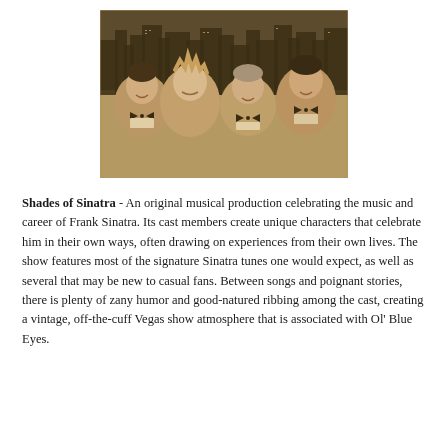[Figure (photo): Sepia-toned group photo of four performers (three men in tuxedos with bow ties and one woman) smiling together against a Las Vegas skyline backdrop.]
Shades of Sinatra - An original musical production celebrating the music and career of Frank Sinatra. Its cast members create unique characters that celebrate him in their own ways, often drawing on experiences from their own lives. The show features most of the signature Sinatra tunes one would expect, as well as several that may be new to casual fans. Between songs and poignant stories, there is plenty of zany humor and good-natured ribbing among the cast, creating a vintage, off-the-cuff Vegas show atmosphere that is associated with Ol' Blue Eyes.